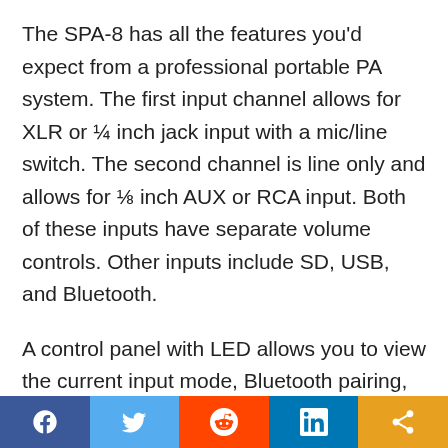The SPA-8 has all the features you'd expect from a professional portable PA system. The first input channel allows for XLR or ¼ inch jack input with a mic/line switch. The second channel is line only and allows for ⅛ inch AUX or RCA input. Both of these inputs have separate volume controls. Other inputs include SD, USB, and Bluetooth.
A control panel with LED allows you to view the current input mode, Bluetooth pairing, and settings. Below the LED is a
[Figure (other): Social sharing bar with Facebook, Twitter, Reddit, LinkedIn, and share buttons]